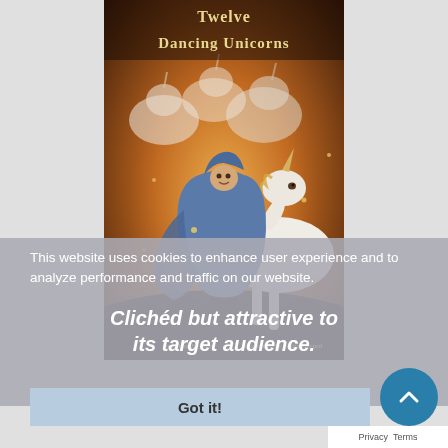[Figure (illustration): Book cover for 'Twelve Dancing Unicorns' by Alissa Heyman, illustrated by Justin Gerard. Shows a child in a blue hooded cloak embracing a white unicorn, with multiple unicorns in a magical golden-lit background. Title in decorative medieval font at the top.]
This website uses cookies to enhance user experience and to analyze performance and traffic on our website.
Clichéd but attractive to its target audience.
Got it!
Privacy  Terms